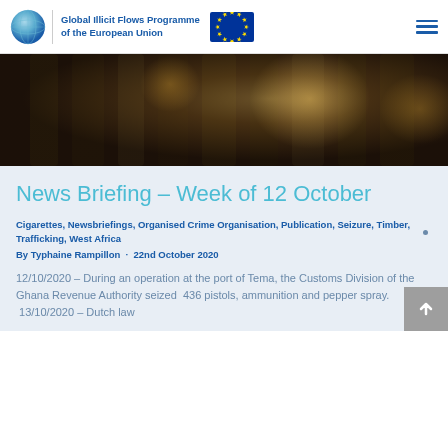Global Illicit Flows Programme of the European Union
[Figure (photo): Dark close-up photo of bottles or cylindrical objects with warm amber/golden bokeh lighting]
News Briefing – Week of 12 October
Cigarettes, Newsbriefings, Organised Crime Organisation, Publication, Seizure, Timber, Trafficking, West Africa
By Typhaine Rampillon · 22nd October 2020
12/10/2020 – During an operation at the port of Tema, the Customs Division of the Ghana Revenue Authority seized  436 pistols, ammunition and pepper spray.  13/10/2020 – Dutch law